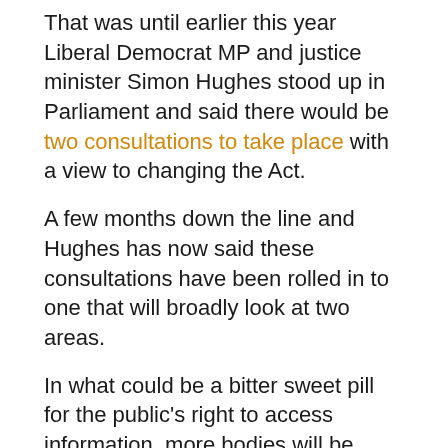That was until earlier this year Liberal Democrat MP and justice minister Simon Hughes stood up in Parliament and said there would be two consultations to take place with a view to changing the Act.
A few months down the line and Hughes has now said these consultations have been rolled in to one that will broadly look at two areas.
In what could be a bitter sweet pill for the public's right to access information, more bodies will be introduced in to the scope of the Act, but at the same time how much can be obtained is likely to be reduced.
And, the consultation may be over in the blink of an eye. It is possible, and likely, that due to the limited time before the General Election, the consultation may only last a month, Hughes hinted. Cabinet Office guidelines on the consultation...